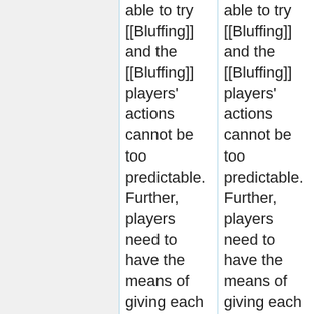able to try [[Bluffing]] and the [[Bluffing]] players' actions cannot be too predictable. Further, players need to have the means of giving each other [[Indirect Information]] about game state or player intentions, i.e., players can make guesses regarding the game state based on other players actions and players can use this do to
able to try [[Bluffing]] and the [[Bluffing]] players' actions cannot be too predictable. Further, players need to have the means of giving each other [[Indirect Information]] about game state or player intentions, i.e., players can make guesses regarding the game state based on other players actions and players can use this do to